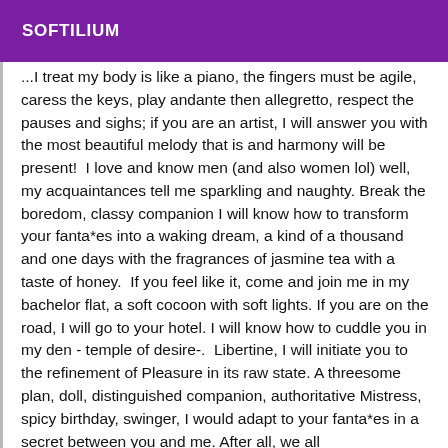SOFTILIUM
...I treat my body is like a piano, the fingers must be agile, caress the keys, play andante then allegretto, respect the pauses and sighs; if you are an artist, I will answer you with the most beautiful melody that is and harmony will be present!  I love and know men (and also women lol) well, my acquaintances tell me sparkling and naughty. Break the boredom, classy companion I will know how to transform your fanta*es into a waking dream, a kind of a thousand and one days with the fragrances of jasmine tea with a taste of honey.  If you feel like it, come and join me in my bachelor flat, a soft cocoon with soft lights. If you are on the road, I will go to your hotel. I will know how to cuddle you in my den - temple of desire-.  Libertine, I will initiate you to the refinement of Pleasure in its raw state. A threesome plan, doll, distinguished companion, authoritative Mistress, spicy birthday, swinger, I would adapt to your fanta*es in a secret between you and me. After all, we all